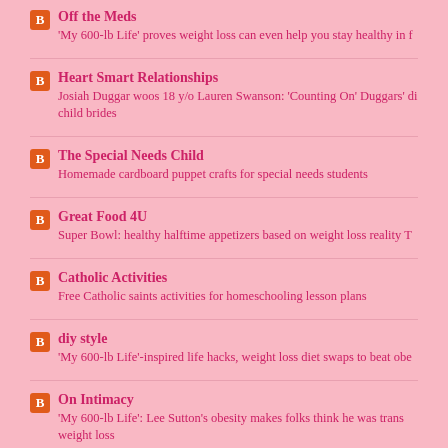Off the Meds
'My 600-lb Life' proves weight loss can even help you stay healthy in f
Heart Smart Relationships
Josiah Duggar woos 18 y/o Lauren Swanson: 'Counting On' Duggars' dis child brides
The Special Needs Child
Homemade cardboard puppet crafts for special needs students
Great Food 4U
Super Bowl: healthy halftime appetizers based on weight loss reality T
Catholic Activities
Free Catholic saints activities for homeschooling lesson plans
diy style
'My 600-lb Life'-inspired life hacks, weight loss diet swaps to beat obe
On Intimacy
'My 600-lb Life': Lee Sutton's obesity makes folks think he was trans weight loss
All About Giving
Give the gift of health with Easy fitness workouts, weight loss exerc